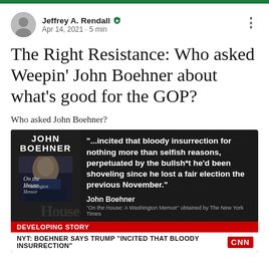Jeffrey A. Rendall · Apr 14, 2021 · 5 min
The Right Resistance: Who asked Weepin' John Boehner about what's good for the GOP?
Who asked John Boehner?
[Figure (screenshot): CNN news card showing John Boehner book 'On the House: A Washington Memoir' with quote: '...incited that bloody insurrection for nothing more than selfish reasons, perpetuated by the bullsh*t he'd been shoveling since he lost a fair election the previous November.' — John Boehner. CNN chyron: DEVELOPING STORY / NYT: BOEHNER SAYS TRUMP 'INCITED THAT BLOODY INSURRECTION']